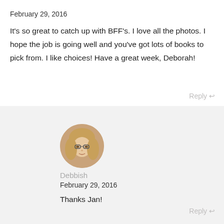February 29, 2016
It's so great to catch up with BFF's. I love all the photos. I hope the job is going well and you've got lots of books to pick from. I like choices! Have a great week, Deborah!
Reply ↩
[Figure (photo): Round avatar photo of a woman with glasses and blonde hair]
Debbish
February 29, 2016
Thanks Jan!
Reply ↩